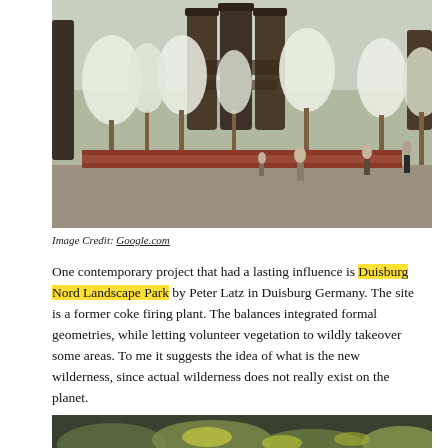[Figure (photo): Photograph of Duisburg Nord Landscape Park showing large industrial silos/cylinders in the background, blooming white-flowered trees, red raised garden beds, gravel paths, and people walking through the park.]
Image Credit: Google.com
One contemporary project that had a lasting influence is Duisburg Nord Landscape Park by Peter Latz in Duisburg Germany. The site is a former coke firing plant. The balances integrated formal geometries, while letting volunteer vegetation to wildly takeover some areas. To me it suggests the idea of what is the new wilderness, since actual wilderness does not really exist on the planet.
[Figure (photo): Partial photograph showing close-up of wild/natural vegetation with green and yellow plants, likely volunteer vegetation at a landscape site.]